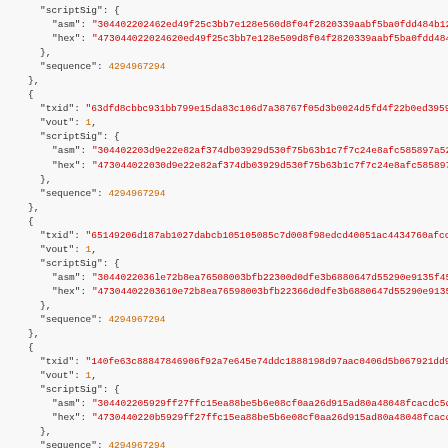JSON code block showing Bitcoin transaction scriptSig data with txid, vout, scriptSig (asm, hex), and sequence fields repeated multiple times